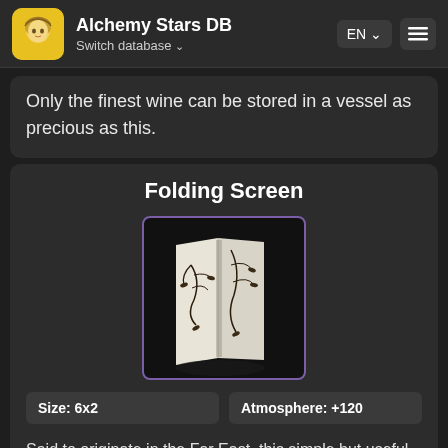Alchemy Stars DB — Switch database — EN
Only the finest wine can be stored in a vessel as precious as this.
Folding Screen
[Figure (photo): A folding screen furniture item shown as a 3D rendered object — a white folding screen with dark bamboo/branch illustrations on it, viewed from a slight angle.]
Size: 6x2
Atmosphere: +120
Said to originate in the Far East, this simple but useful piece of furniture can block wind, separate spaces, and provide privacy. In addition, it can be embellished so as to beautify the space around it and